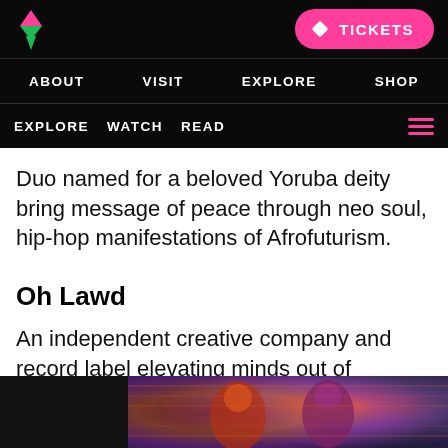Logo | TICKETS
ABOUT  VISIT  EXPLORE  SHOP
EXPLORE  WATCH  READ
Duo named for a beloved Yoruba deity bring message of peace through neo soul, hip-hop manifestations of Afrofuturism.
Oh Lawd
An independent creative company and record label elevating minds out of Albuquerque.
[Figure (photo): Colorful portrait artwork at the bottom of the page, showing figures against a vibrant red/purple/orange textured background.]